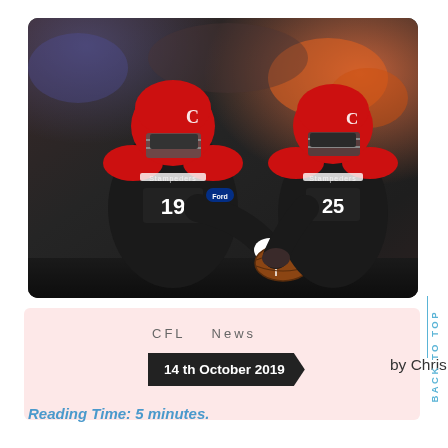[Figure (photo): Two Calgary Stampeders CFL football players in red helmets and black/red jerseys (#19 and #25) during a handoff play with football. Crowd in the background. Night game setting.]
CFL   News
14th October 2019   by Chris Lawton
BACK TO TOP
Reading Time: 5 minutes.